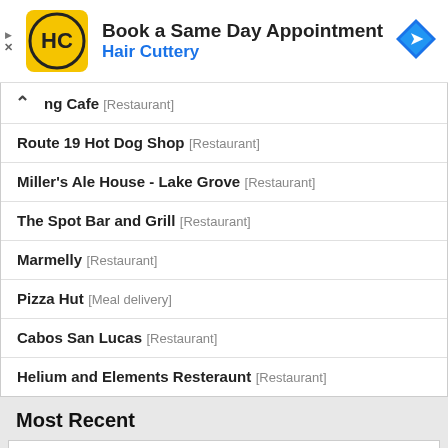[Figure (infographic): Hair Cuttery advertisement banner: yellow logo with HC text, 'Book a Same Day Appointment', 'Hair Cuttery' in blue, blue diamond arrow icon on right]
ng Cafe [Restaurant]
Route 19 Hot Dog Shop [Restaurant]
Miller's Ale House - Lake Grove [Restaurant]
The Spot Bar and Grill [Restaurant]
Marmelly [Restaurant]
Pizza Hut [Meal delivery]
Cabos San Lucas [Restaurant]
Helium and Elements Resteraunt [Restaurant]
Most Recent
Epic [Restaurant]
Cravin's To Order [Meal takeaway]